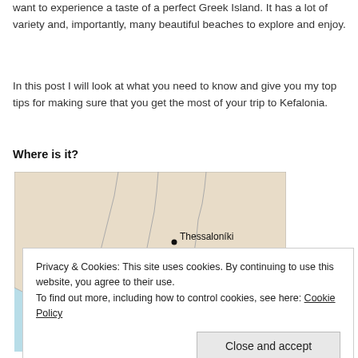want to experience a taste of a perfect Greek Island. It has a lot of variety and, importantly, many beautiful beaches to explore and enjoy.
In this post I will look at what you need to know and give you my top tips for making sure that you get the most of your trip to Kefalonia.
Where is it?
[Figure (map): Map showing northern Greece region with Albania (ALB.) labeled and Thessaloníki marked with a dot. Light blue water areas surround landmasses shown in beige/tan.]
Privacy & Cookies: This site uses cookies. By continuing to use this website, you agree to their use.
To find out more, including how to control cookies, see here: Cookie Policy
Close and accept